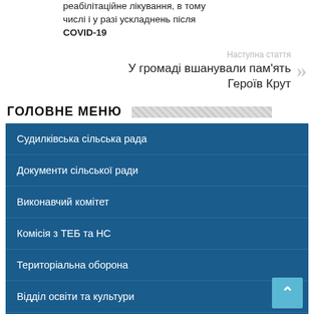реабілітаційне лікування, в тому числі і у разі ускладнень після COVID-19
Наступна стаття
У громаді вшанували пам'ять Героїв Крут
ГОЛОВНЕ МЕНЮ
Судилківська сільська рада
Документи сільської ради
Виконавчий комітет
Комісія з ТЕБ та НС
Територіальна оборона
Відділ освіти та культури
Служба у справах дітей
Новини